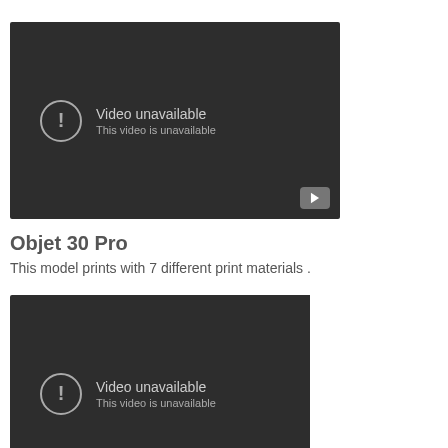[Figure (screenshot): YouTube video embed showing 'Video unavailable — This video is unavailable' error message on dark background with YouTube play button icon in bottom right corner.]
Objet 30 Pro
This model prints with 7 different print materials .
[Figure (screenshot): YouTube video embed showing 'Video unavailable — This video is unavailable' error message on dark background, partially visible.]